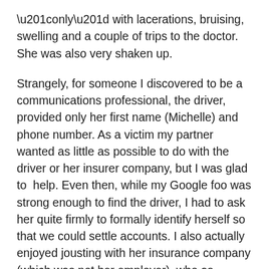“only” with lacerations, bruising, swelling and a couple of trips to the doctor. She was also very shaken up.
Strangely, for someone I discovered to be a communications professional, the driver, provided only her first name (Michelle) and phone number. As a victim my partner wanted as little as possible to do with the driver or her insurer company, but I was glad to  help. Even then, while my Google foo was strong enough to find the driver, I had to ask her quite firmly to formally identify herself so that we could settle accounts. I also actually enjoyed jousting with her insurance company (which was not her employer), who as always are not exactly there to meet your full costs unless you fight. Incidentally — if something like this happens to you there are people out there who really enjoy negotiating with insurance companies — so